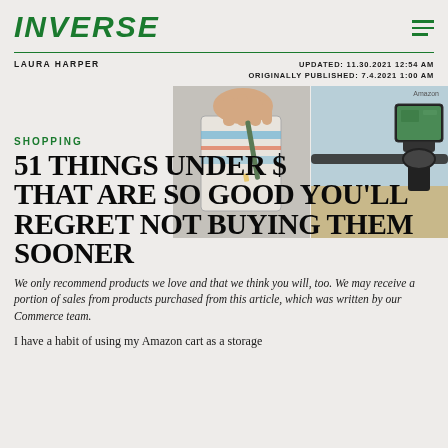INVERSE
LAURA HARPER
UPDATED: 11.30.2021 12:54 AM
ORIGINALLY PUBLISHED: 7.4.2021 1:00 AM
[Figure (photo): Two product photos side by side: left shows hands holding a striped pouch/organizer, right shows a phone mount attached to a bicycle handlebar. Caption label: Amazon]
SHOPPING
51 THINGS UNDER $45 THAT ARE SO GOOD YOU'LL REGRET NOT BUYING THEM SOONER
We only recommend products we love and that we think you will, too. We may receive a portion of sales from products purchased from this article, which was written by our Commerce team.
I have a habit of using my Amazon cart as a storage